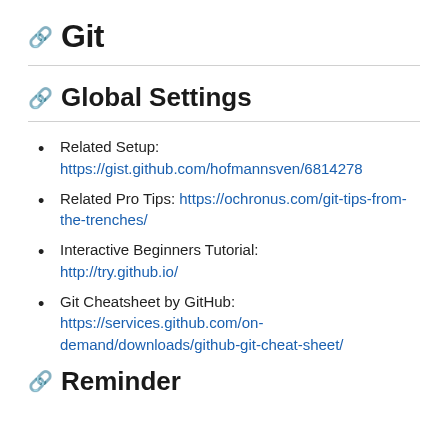🔗 Git
🔗 Global Settings
Related Setup: https://gist.github.com/hofmannsven/68142778
Related Pro Tips: https://ochronus.com/git-tips-from-the-trenches/
Interactive Beginners Tutorial: http://try.github.io/
Git Cheatsheet by GitHub: https://services.github.com/on-demand/downloads/github-git-cheat-sheet/
🔗 Reminder